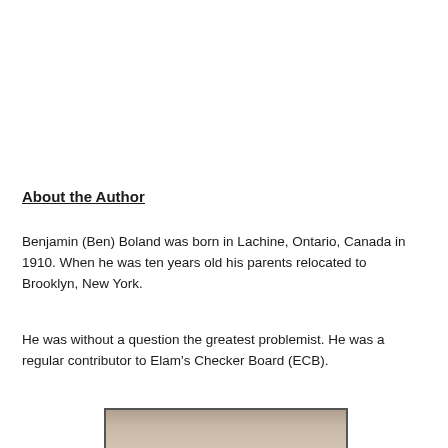About the Author
Benjamin (Ben) Boland was born in Lachine, Ontario, Canada in 1910. When he was ten years old his parents relocated to Brooklyn, New York.
He was without a question the greatest problemist. He was a regular contributor to Elam's Checker Board (ECB).
[Figure (photo): Partial photo of a person, cropped at the bottom of the page]